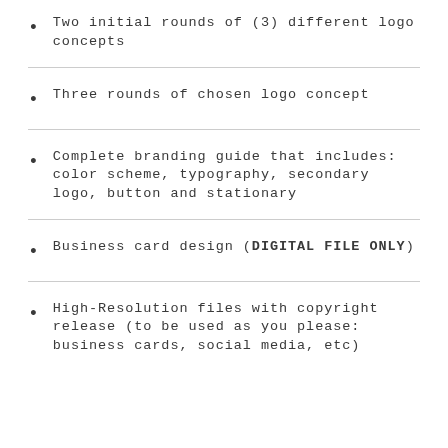Two initial rounds of (3) different logo concepts
Three rounds of chosen logo concept
Complete branding guide that includes: color scheme, typography, secondary logo, button and stationary
Business card design (DIGITAL FILE ONLY)
High-Resolution files with copyright release (to be used as you please: business cards, social media, etc)